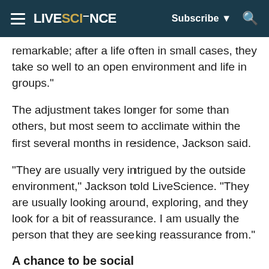LIVESCIENCE | Subscribe | Search
remarkable; after a life often in small cases, they take so well to an open environment and life in groups."
The adjustment takes longer for some than others, but most seem to acclimate within the first several months in residence, Jackson said.
"They are usually very intrigued by the outside environment," Jackson told LiveScience. "They are usually looking around, exploring, and they look for a bit of reassurance. I am usually the person that they are seeking reassurance from."
A chance to be social
For many of these chimps, this is the first opportunity